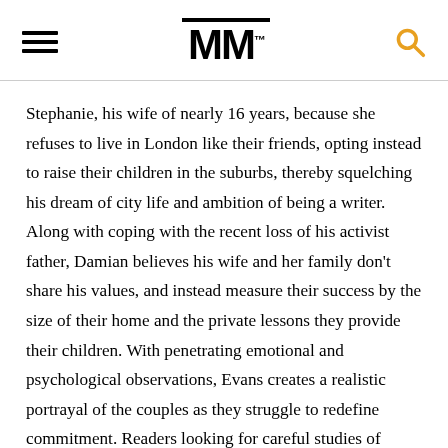MM
Stephanie, his wife of nearly 16 years, because she refuses to live in London like their friends, opting instead to raise their children in the suburbs, thereby squelching his dream of city life and ambition of being a writer. Along with coping with the recent loss of his activist father, Damian believes his wife and her family don't share his values, and instead measure their success by the size of their home and the private lessons they provide their children. With penetrating emotional and psychological observations, Evans creates a realistic portrayal of the couples as they struggle to redefine commitment. Readers looking for careful studies of relationship dynamics will find much to contemplate.